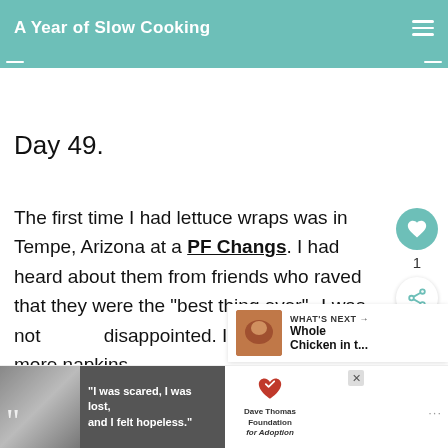A Year of Slow Cooking
Day 49.
The first time I had lettuce wraps was in Tempe, Arizona at a PF Changs. I had heard about them from friends who raved that they were the "best thing ever"--I was not disappointed. I had to ask for more napkins
[Figure (other): Advertisement banner at the bottom of the page with a woman's photo, quote text 'I was scared, I was lost, and I felt hopeless.' and Dave Thomas Foundation for Adoption logo]